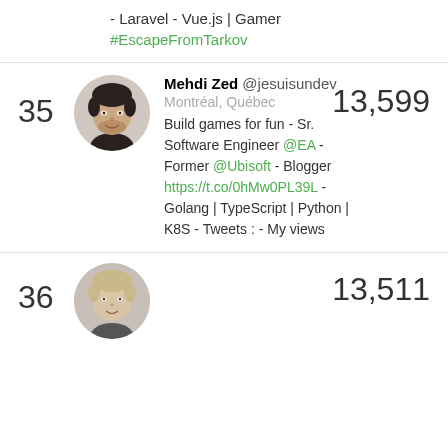- Laravel - Vue.js | Gamer #EscapeFromTarkov
35
[Figure (photo): Circular profile photo of Mehdi Zed, a man with dark hair and a beard, smiling]
13,599
Mehdi Zed @jesuisundev
Montréal, Québec
Build games for fun - Sr. Software Engineer @EA - Former @Ubisoft - Blogger https://t.co/0hMw0PL39L - Golang | TypeScript | Python | K8S - Tweets : - My views
36
[Figure (photo): Circular profile photo of a man with light hair]
13,511